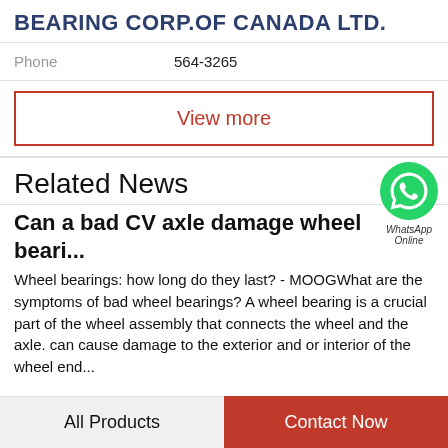BEARING CORP.OF CANADA LTD.
Phone   564-3265
View more
Related News
[Figure (logo): WhatsApp icon with label 'WhatsApp Online']
Can a bad CV axle damage wheel beari...
Wheel bearings: how long do they last? - MOOGWhat are the symptoms of bad wheel bearings? A wheel bearing is a crucial part of the wheel assembly that connects the wheel and the axle. can cause damage to the exterior and or interior of the wheel end...
All Products   Contact Now